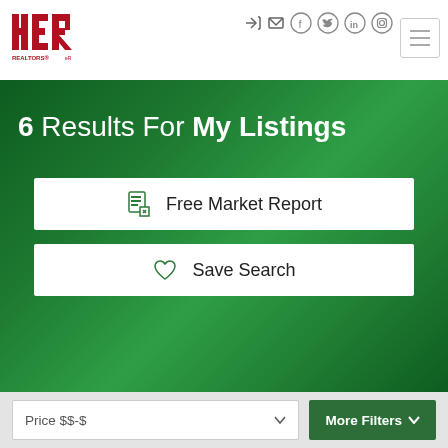[Figure (logo): HER Realtors logo in red with stylized letters H, E, R]
[Figure (infographic): Navigation icons: login arrow, email, Facebook, Twitter, LinkedIn, Instagram social media icons in circular outlines, and hamburger menu button]
6 Results For My Listings
[Figure (screenshot): White button with document icon: Free Market Report]
[Figure (screenshot): White button with heart icon: Save Search]
[Figure (screenshot): Filter bar with Price $$-$ dropdown and More Filters button]